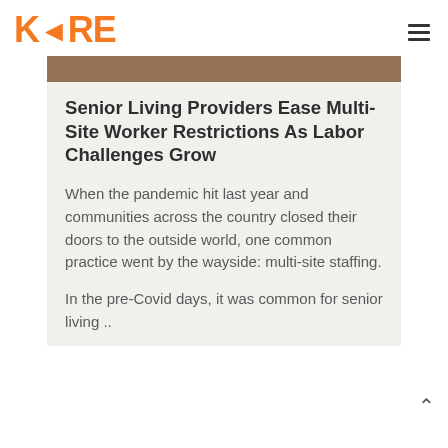KARE
[Figure (photo): Partial photo of a person, cropped at top of page]
Senior Living Providers Ease Multi-Site Worker Restrictions As Labor Challenges Grow
When the pandemic hit last year and communities across the country closed their doors to the outside world, one common practice went by the wayside: multi-site staffing.
In the pre-Covid days, it was common for senior living ..